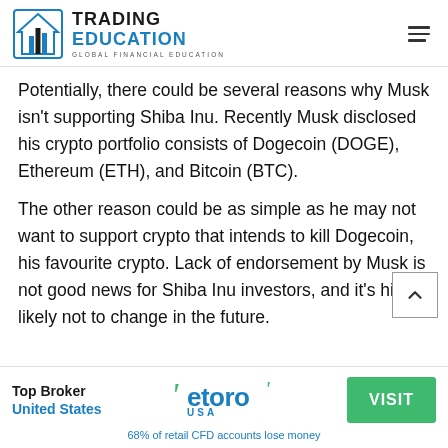Trading Education - Global Financial Education
Potentially, there could be several reasons why Musk isn't supporting Shiba Inu. Recently Musk disclosed his crypto portfolio consists of Dogecoin (DOGE), Ethereum (ETH), and Bitcoin (BTC).
The other reason could be as simple as he may not want to support crypto that intends to kill Dogecoin, his favourite crypto. Lack of endorsement by Musk is not good news for Shiba Inu investors, and it's highly likely not to change in the future.
[Figure (logo): eToro USA logo]
Top Broker United States
VISIT
68% of retail CFD accounts lose money